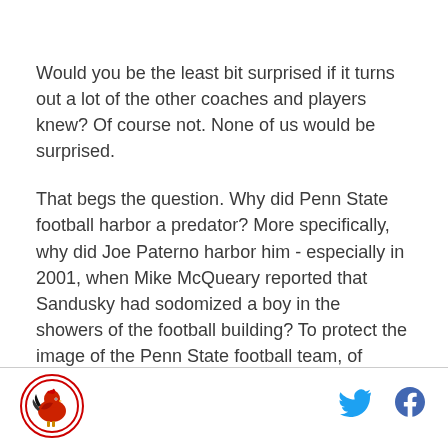Would you be the least bit surprised if it turns out a lot of the other coaches and players knew? Of course not. None of us would be surprised.
That begs the question. Why did Penn State football harbor a predator? More specifically, why did Joe Paterno harbor him - especially in 2001, when Mike McQueary reported that Sandusky had sodomized a boy in the showers of the football building? To protect the image of the Penn State football team, of course.
[Figure (logo): Circular logo with red border and rooster/bird illustration in red and black on white background]